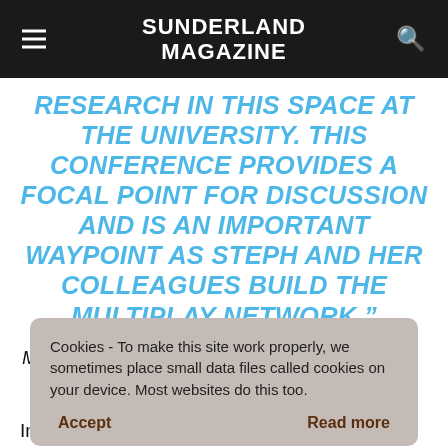SUNDERLAND MAGAZINE
RESEARCH IN THIS SPACE AT THE UNIVERSITY. THIS CONFERENCE PROVIDES A FOCAL POINT FOR DISCUSSION AND IS AN IMPORTANT WAYPOINT AS STEPH AND HER COLLEAGUES BUILD THE MULTIPLAY NETWORK.”
Cookies - To make this site work properly, we sometimes place small data files called cookies on your device. Most websites do this too.
MultiPlay the Media and tions Interdisciplinary Research Network